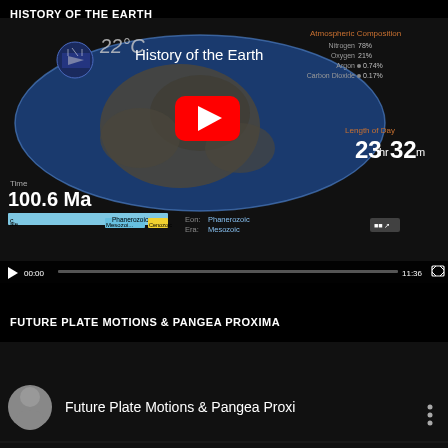HISTORY OF THE EARTH
[Figure (screenshot): YouTube video thumbnail showing 'History of the Earth' with Earth globe visualization, atmospheric composition data (Nitrogen 78%, Oxygen 21%, Argon 0.74%, Carbon Dioxide 0.17%), Length of Day (23hr 32m), Time: 100.6 Ma, Eon: Phanerozoic, Era: Mesozoic, with video controls showing 00:00 / 11:36]
FUTURE PLATE MOTIONS & PANGEA PROXIMA
[Figure (screenshot): YouTube video thumbnail showing 'Future Plate Motions & Pangea Proxi...' with a presenter's thumbnail circle icon]